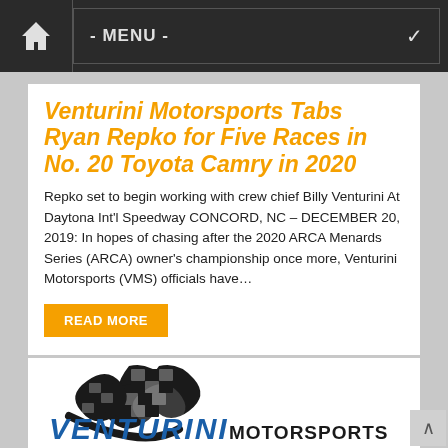- MENU -
Venturini Motorsports Tabs Ryan Repko for Five Races in No. 20 Toyota Camry in 2020
Repko set to begin working with crew chief Billy Venturini At Daytona Int'l Speedway CONCORD, NC – DECEMBER 20, 2019: In hopes of chasing after the 2020 ARCA Menards Series (ARCA) owner's championship once more, Venturini Motorsports (VMS) officials have…
READ MORE
[Figure (logo): Venturini Motorsports logo with checkered flag graphic in black and blue/dark text]